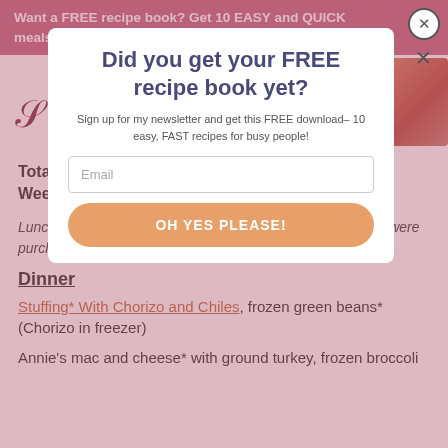Want a FREE recipe book? Get 10 EASY and QUICK meals for busy families! Get yours now!
Total: $20.09
Weekly Total: $58.87
Did you get your FREE recipe book yet?
Sign up for my newsletter and get this FREE download– 10 easy, FAST recipes for busy people!
Lunch is always leftovers. Items marked with an asterisk (*) were purchased in previous weeks.
Email
OH YES PLEASE!
Dinner
Stuffing* With Chorizo and Chiles, frozen green beans* (Chorizo in freezer)
Annie's mac and cheese* with ground turkey, frozen broccoli